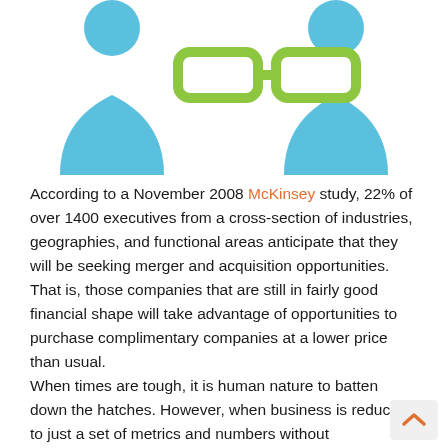[Figure (illustration): Two blue hourglass/person silhouette shapes on the left and right sides, connected by two green chain-link or connector symbols in the center, representing merger or acquisition linkage between organizations.]
According to a November 2008 McKinsey study, 22% of over 1400 executives from a cross-section of industries, geographies, and functional areas anticipate that they will be seeking merger and acquisition opportunities. That is, those companies that are still in fairly good financial shape will take advantage of opportunities to purchase complimentary companies at a lower price than usual.
When times are tough, it is human nature to batten down the hatches. However, when business is reduced to just a set of metrics and numbers without consideration to the human side of business, growth and productivity are unintentionally squelched. Several years ago some colleagues and I were making a sales pitch to the CEO of a large chemical